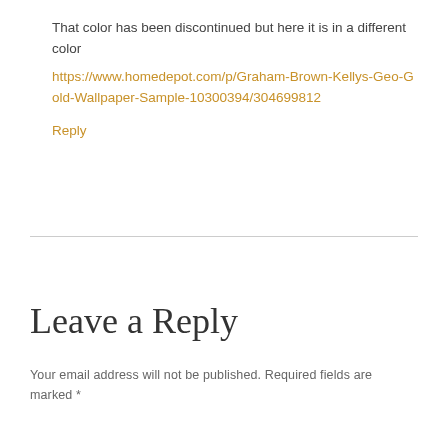That color has been discontinued but here it is in a different color
https://www.homedepot.com/p/Graham-Brown-Kellys-Geo-Gold-Wallpaper-Sample-10300394/304699812
Reply
Leave a Reply
Your email address will not be published. Required fields are marked *